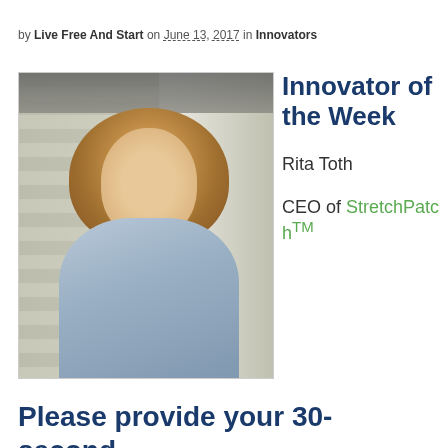by Live Free And Start on June 13, 2017 in Innovators
[Figure (photo): Portrait photo of Rita Toth, a woman with long wavy auburn/blonde hair wearing a light blue shirt, photographed outdoors against a white siding and wall background]
Innovator of the Week
Rita Toth
CEO of StretchPatchTM
Please provide your 30-second